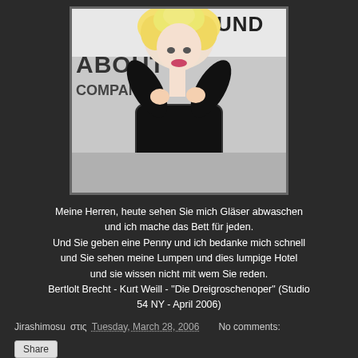[Figure (photo): A woman with curly blonde hair wearing a black lace outfit, posing with hands near her neck. Background shows 'ROUND... ABOUT COMPANY' signage.]
Meine Herren, heute sehen Sie mich Gläser abwaschen und ich mache das Bett für jeden.
Und Sie geben eine Penny und ich bedanke mich schnell und Sie sehen meine Lumpen und dies lumpige Hotel und sie wissen nicht mit wem Sie reden.
Bertlolt Brecht - Kurt Weill - "Die Dreigroschenoper" (Studio 54 NY - April 2006)
Jirashimosu στις Tuesday, March 28, 2006    No comments:
Share